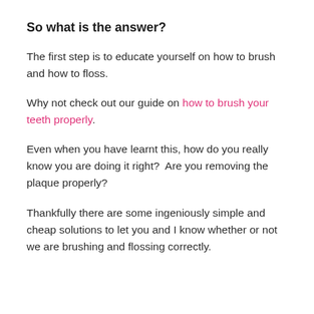So what is the answer?
The first step is to educate yourself on how to brush and how to floss.
Why not check out our guide on how to brush your teeth properly.
Even when you have learnt this, how do you really know you are doing it right?  Are you removing the plaque properly?
Thankfully there are some ingeniously simple and cheap solutions to let you and I know whether or not we are brushing and flossing correctly.